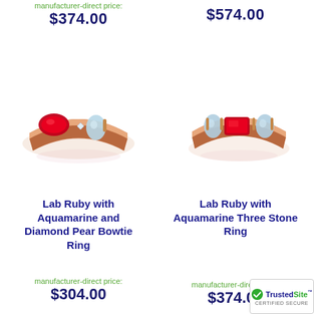manufacturer-direct price:
$374.00
$574.00
[Figure (photo): Rose gold ring with lab ruby (marquise cut) and aquamarine pear side stones with diamond accents - left product photo]
[Figure (photo): Rose gold ring with lab ruby (emerald cut) and aquamarine three stone setting - right product photo]
Lab Ruby with Aquamarine and Diamond Pear Bowtie Ring
Lab Ruby with Aquamarine Three Stone Ring
manufacturer-direct price:
$304.00
manufacturer-direct price:
$374.00